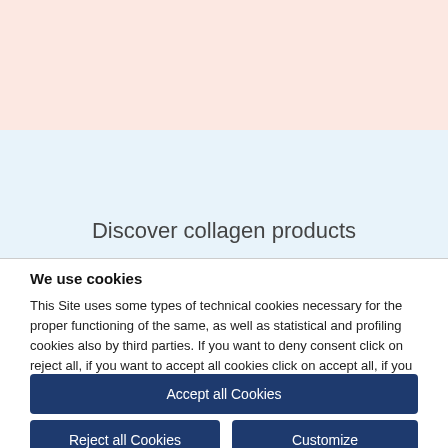[Figure (other): Salmon/pink colored banner background at top of page]
[Figure (other): Light blue banner background in middle of page]
Discover collagen products
We use cookies
This Site uses some types of technical cookies necessary for the proper functioning of the same, as well as statistical and profiling cookies also by third parties. If you want to deny consent click on reject all, if you want to accept all cookies click on accept all, if you want to independently select the cookies to accept click on customize. If you want to know more, consult the Privacy Policy.
Accept all Cookies
Reject all Cookies
Customize